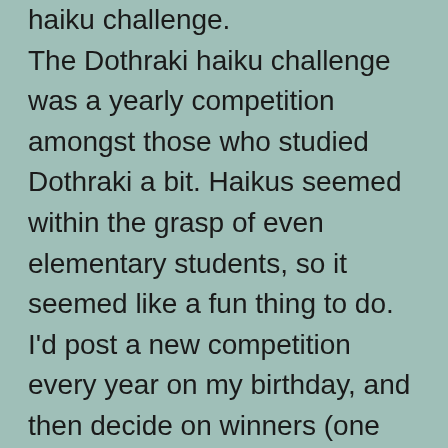haiku challenge. The Dothraki haiku challenge was a yearly competition amongst those who studied Dothraki a bit. Haikus seemed within the grasp of even elementary students, so it seemed like a fun thing to do. I'd post a new competition every year on my birthday, and then decide on winners (one for Dothraki, and later one for High Valyrian) just for fun (no real awards; only virtual).
I can't remember off hand how many competitions we ran, but it was at least four, I think. They didn't stop for any important reason. The fact of the matter was, what would